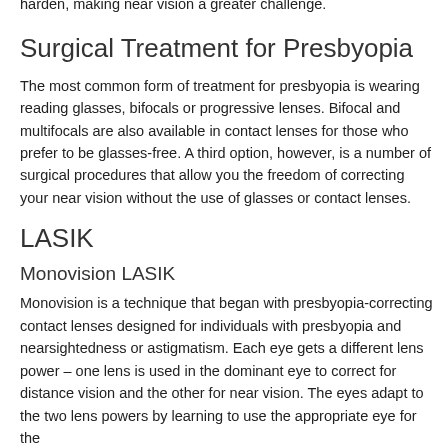shift focus from close to distant objects without difficulty. As the eye ages however, both the lens and the muscle fibers begin to harden, making near vision a greater challenge.
Surgical Treatment for Presbyopia
The most common form of treatment for presbyopia is wearing reading glasses, bifocals or progressive lenses. Bifocal and multifocals are also available in contact lenses for those who prefer to be glasses-free. A third option, however, is a number of surgical procedures that allow you the freedom of correcting your near vision without the use of glasses or contact lenses.
LASIK
Monovision LASIK
Monovision is a technique that began with presbyopia-correcting contact lenses designed for individuals with presbyopia and nearsightedness or astigmatism. Each eye gets a different lens power – one lens is used in the dominant eye to correct for distance vision and the other for near vision. The eyes adapt to the two lens powers by learning to use the appropriate eye for the